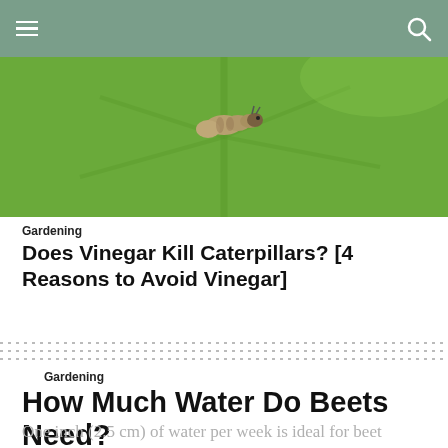[Figure (photo): Close-up photo of a caterpillar on a large green leaf]
Gardening
Does Vinegar Kill Caterpillars? [4 Reasons to Avoid Vinegar]
Gardening
How Much Water Do Beets Need?
One inch (2.5 cm) of water per week is ideal for beet plants. Fresh beets are not a thirsty crop